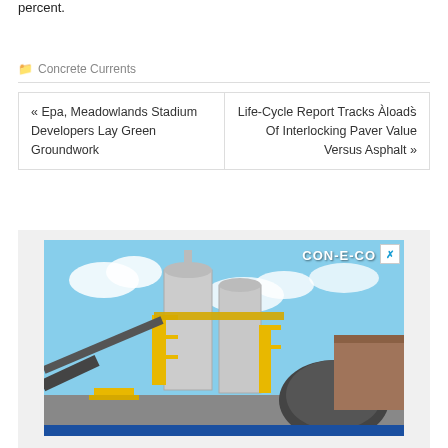percent.
Concrete Currents
« Epa, Meadowlands Stadium Developers Lay Green Groundwork
Life-Cycle Report Tracks Àloads̀ Of Interlocking Paver Value Versus Asphalt »
[Figure (photo): Industrial concrete batching plant equipment with silos, conveyors and machinery. CON-E-CO logo visible in upper right corner.]